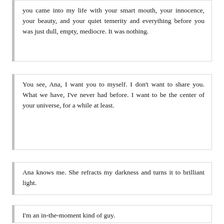you came into my life with your smart mouth, your innocence, your beauty, and your quiet temerity and everything before you was just dull, empty, mediocre. It was nothing.
You see, Ana, I want you to myself. I don't want to share you. What we have, I've never had before. I want to be the center of your universe, for a while at least.
Ana knows me. She refracts my darkness and turns it to brilliant light.
I'm an in-the-moment kind of guy.